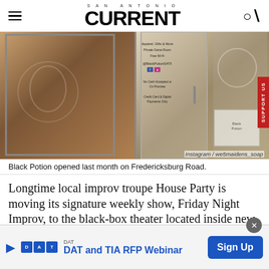SAN ANTONIO CURRENT
[Figure (photo): Exterior storefront of Black Potion on Fredericksburg Road, showing glass doors with signage including Apparel Gifts & More, Private Game Room, Free Wi-Fi, No Cash Accepted on Premise, Credit Card & Digital Payments Only. A red SUPPORT US tab is visible on the right edge.]
Instagram / we5maidens_soap
Black Potion opened last month on Fredericksburg Road.
Longtime local improv troupe House Party is moving its signature weekly show, Friday Night Improv, to the black-box theater located inside new Deco District tabletop
[Figure (screenshot): Advertisement banner: DAT and TIA RFP Webinar with Sign Up button]